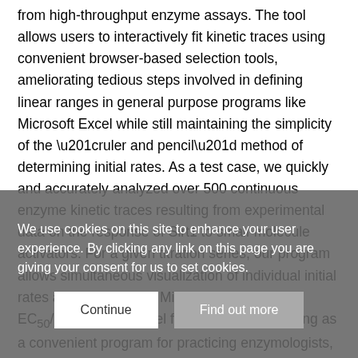from high-throughput enzyme assays. The tool allows users to interactively fit kinetic traces using convenient browser-based selection tools, ameliorating tedious steps involved in defining linear ranges in general purpose programs like Microsoft Excel while still maintaining the simplicity of the “ruler and pencil” method of determining initial rates. As a test case, we quickly and accurately analyzed over 500 continuous enzyme kinetic traces resulting from experimental data on the response of Sirt1 to small-molecule activators. For a given titration series, our program allows simultaneous visualization of individual initial rates and the resulting Michaelis-Menten or EC50/IC50 kinetic model fit. In addition to serving as a convenient program for practicing enzymologists, our tool is also a useful teaching aid to
We use cookies on this site to enhance your user experience. By clicking any link on this page you are giving your consent for us to set cookies.